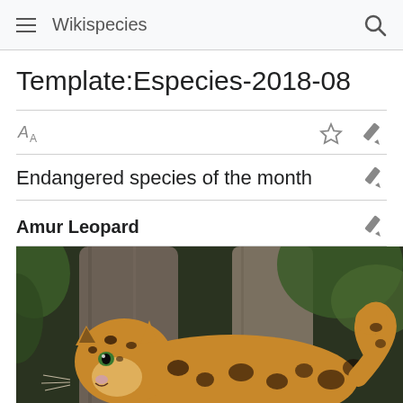Wikispecies
Template:Especies-2018-08
Endangered species of the month
Amur Leopard
[Figure (photo): Photo of an Amur Leopard, a spotted large cat with golden-yellow fur and black rosette markings, resting in front of large tree trunks with green foliage in the background.]